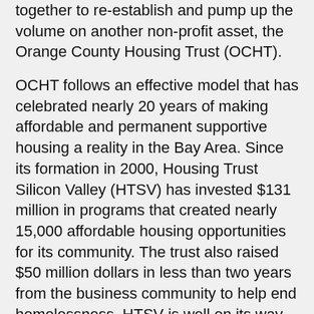together to re-establish and pump up the volume on another non-profit asset, the Orange County Housing Trust (OCHT).
OCHT follows an effective model that has celebrated nearly 20 years of making affordable and permanent supportive housing a reality in the Bay Area. Since its formation in 2000, Housing Trust Silicon Valley (HTSV) has invested $131 million in programs that created nearly 15,000 affordable housing opportunities for its community. The trust also raised $50 million dollars in less than two years from the business community to help end homelessness. HTSV is well on its way.
And while small today, OCHT will also focus on affordable and permanent supportive housing throughout Orange County through private capital contributions, wise investments, grants and project loans, leveraging public funding efforts already underway, including the good work of the Association of California Cities — Orange County and its new Orange County Housing Finance Trust (AB448).
Already, Disneyland Resort has proudly stepped up as a